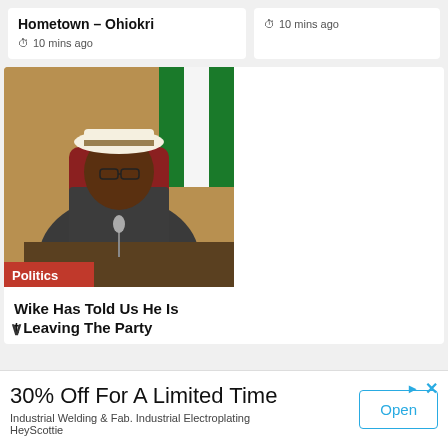Hometown – Ohiokri
10 mins ago
10 mins ago
[Figure (photo): A man in a white hat and dark grey outfit seated at a desk with a Nigerian flag in the background, with a red 'Politics' badge overlay at bottom left.]
Wike Has Told Us He Is Not Leaving The Party
30% Off For A Limited Time
Industrial Welding & Fab. Industrial Electroplating HeyScottie